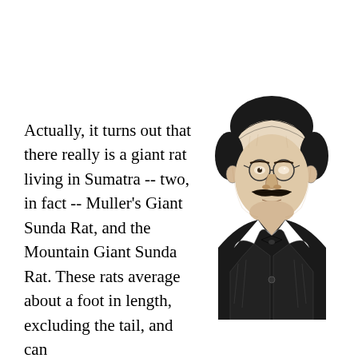Actually, it turns out that there really is a giant rat living in Sumatra -- two, in fact -- Muller's Giant Sunda Rat, and the Mountain Giant Sunda Rat. These rats average about a foot in length, excluding the tail, and can
[Figure (illustration): Black and white engraved portrait illustration of a mustachioed man wearing glasses and a formal jacket with a bow tie, depicted from chest up, in a 19th century style.]